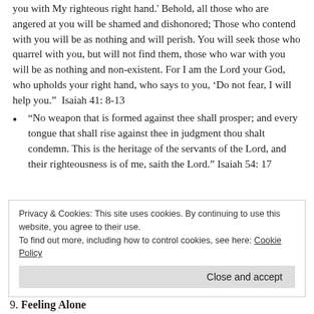you with My righteous right hand.' Behold, all those who are angered at you will be shamed and dishonored; Those who contend with you will be as nothing and will perish. You will seek those who quarrel with you, but will not find them, those who war with you will be as nothing and non-existent. For I am the Lord your God, who upholds your right hand, who says to you, ‘Do not fear, I will help you.”  Isaiah 41: 8-13
“No weapon that is formed against thee shall prosper; and every tongue that shall rise against thee in judgment thou shalt condemn. This is the heritage of the servants of the Lord, and their righteousness is of me, saith the Lord.” Isaiah 54: 17
Privacy & Cookies: This site uses cookies. By continuing to use this website, you agree to their use.
To find out more, including how to control cookies, see here: Cookie Policy
9. Feeling Alone